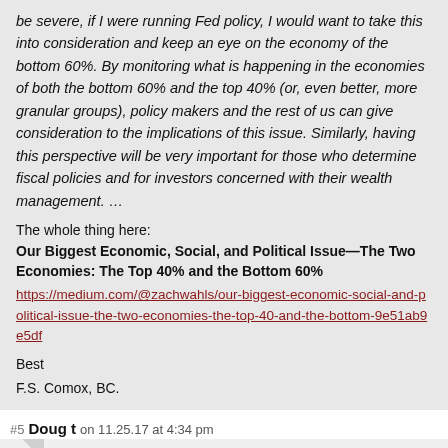be severe, if I were running Fed policy, I would want to take this into consideration and keep an eye on the economy of the bottom 60%. By monitoring what is happening in the economies of both the bottom 60% and the top 40% (or, even better, more granular groups), policy makers and the rest of us can give consideration to the implications of this issue. Similarly, having this perspective will be very important for those who determine fiscal policies and for investors concerned with their wealth management. …
The whole thing here:
Our Biggest Economic, Social, and Political Issue—The Two Economies: The Top 40% and the Bottom 60%
https://medium.com/@zachwahls/our-biggest-economic-social-and-political-issue-the-two-economies-the-top-40-and-the-bottom-9e51ab9e5df
Best
F.S. Comox, BC.
#5  Doug t  on 11.25.17 at 4:34 pm